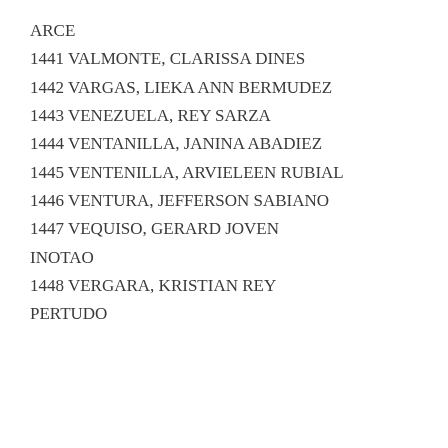ARCE
1441 VALMONTE, CLARISSA DINES
1442 VARGAS, LIEKA ANN BERMUDEZ
1443 VENEZUELA, REY SARZA
1444 VENTANILLA, JANINA ABADIEZ
1445 VENTENILLA, ARVIELEEN RUBIAL
1446 VENTURA, JEFFERSON SABIANO
1447 VEQUISO, GERARD JOVEN INOTAO
1448 VERGARA, KRISTIAN REY PERTUDO